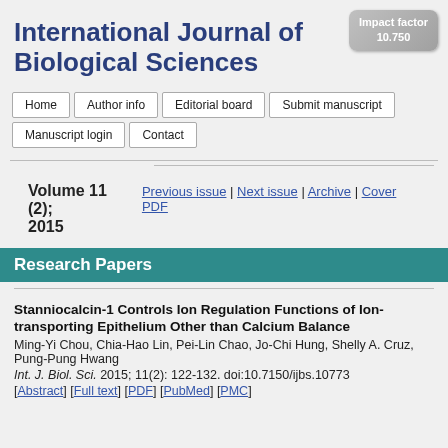[Figure (other): Impact factor badge showing 10.750]
International Journal of Biological Sciences
Home | Author info | Editorial board | Submit manuscript | Manuscript login | Contact
Volume 11 (2); Previous issue | Next issue | Archive | Cover PDF
2015
Research Papers
Stanniocalcin-1 Controls Ion Regulation Functions of Ion-transporting Epithelium Other than Calcium Balance
Ming-Yi Chou, Chia-Hao Lin, Pei-Lin Chao, Jo-Chi Hung, Shelly A. Cruz, Pung-Pung Hwang
Int. J. Biol. Sci. 2015; 11(2): 122-132. doi:10.7150/ijbs.10773
[Abstract] [Full text] [PDF] [PubMed] [PMC]